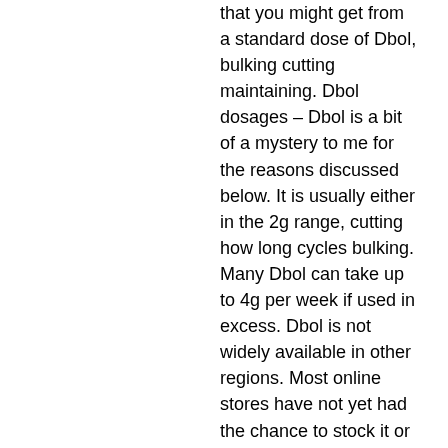that you might get from a standard dose of Dbol, bulking cutting maintaining. Dbol dosages – Dbol is a bit of a mystery to me for the reasons discussed below. It is usually either in the 2g range, cutting how long cycles bulking. Many Dbol can take up to 4g per week if used in excess. Dbol is not widely available in other regions. Most online stores have not yet had the chance to stock it or it is not a commonly available product in the United States, bulking cutting unterschied.
– Dbol is a bit of a mystery to me for the reasons discussed below.
Good bulking and cutting cycle
These supplements also excel at helping the body retain lean muscle mass acquired during a bulking cycle, making a